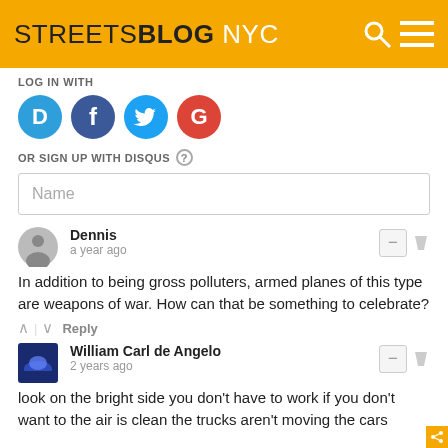STREETSBLOG NYC
LOG IN WITH
[Figure (screenshot): Social login icons: Disqus (D), Facebook (F), Twitter bird, Google (G) as colored circles]
OR SIGN UP WITH DISQUS ?
Name
Dennis
a year ago
In addition to being gross polluters, armed planes of this type are weapons of war. How can that be something to celebrate?
^ | v   Reply
William Carl de Angelo
2 years ago
look on the bright side you don't have to work if you don't want to the air is clean the trucks aren't moving the cars